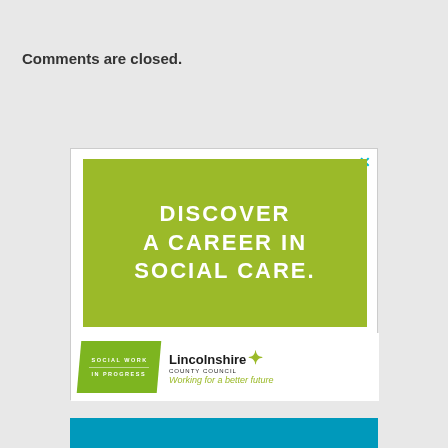Comments are closed.
[Figure (infographic): Advertisement for Lincolnshire County Council social care careers. Green banner reading 'DISCOVER A CAREER IN SOCIAL CARE.' with Lincolnshire County Council logo and tagline 'Working for a better future'. Social Work In Progress badge in lower left. Close (X) button in top right corner.]
[Figure (infographic): Bottom portion of a second advertisement, teal/blue colored strip partially visible at bottom of page.]